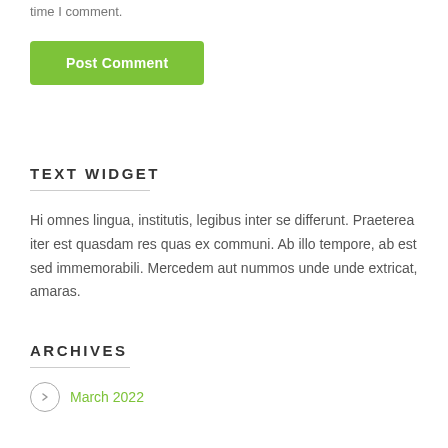time I comment.
Post Comment
TEXT WIDGET
Hi omnes lingua, institutis, legibus inter se differunt. Praeterea iter est quasdam res quas ex communi. Ab illo tempore, ab est sed immemorabili. Mercedem aut nummos unde unde extricat, amaras.
ARCHIVES
March 2022